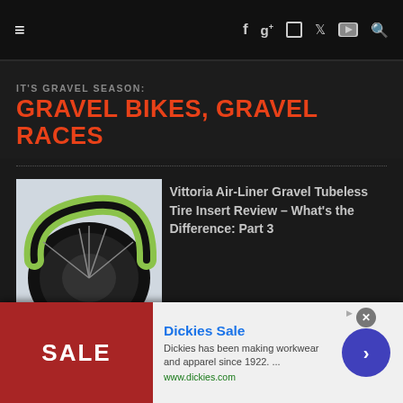≡  f  g+  ○  🐦  ▶  🔍
IT'S GRAVEL SEASON:
GRAVEL BIKES, GRAVEL RACES
[Figure (photo): Close-up of a green and black bicycle tire/wheel on a light background]
Vittoria Air-Liner Gravel Tubeless Tire Insert Review – What's the Difference: Part 3
[Figure (photo): Close-up of a bicycle handlebar and front fork, dark background with autumn colors]
T-LAB Introduces X3.22 Titanium Gravel Bike and Frameset
[Figure (infographic): Advertisement banner: Dickies Sale — Dickies has been making workwear and apparel since 1922. www.dickies.com]